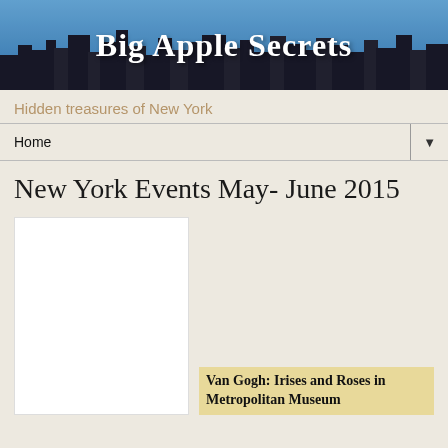[Figure (photo): Big Apple Secrets blog header banner with NYC skyline silhouette and bold white text reading 'Big Apple Secrets' over a blue sky background.]
Hidden treasures of New York
Home ▼
New York Events May- June 2015
[Figure (photo): Blank white placeholder image for an article thumbnail.]
Van Gogh: Irises and Roses in Metropolitan Museum